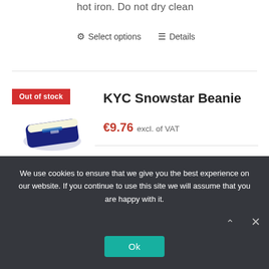hot iron. Do not dry clean
⚙ Select options  ☰ Details
[Figure (photo): KYC Snowstar Beanie product image with Out of stock badge. Shows a dark navy blue knit headband/beanie folded.]
KYC Snowstar Beanie
€9.76 excl. of VAT
Fabric: 100% Soft-touch acrylic Weight: 74g Size: One size Double layer knit.
We use cookies to ensure that we give you the best experience on our website. If you continue to use this site we will assume that you are happy with it.